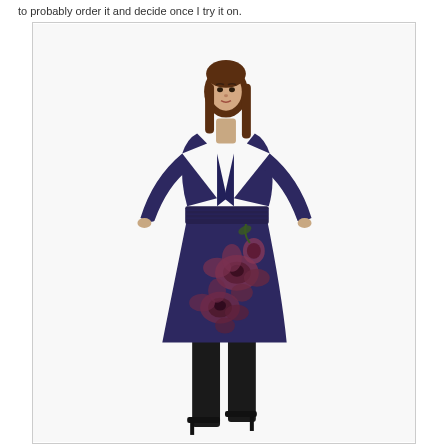to probably order it and decide once I try it on.
[Figure (photo): A female model wearing a deep navy blue long-sleeve wrap-style dress with floral print detail on the skirt, paired with black opaque tights and black high-heeled boots. The dress has a V-neckline, gathered/ruched waist band, and a flared A-line skirt featuring large dark burgundy/mauve floral print on the lower portion.]